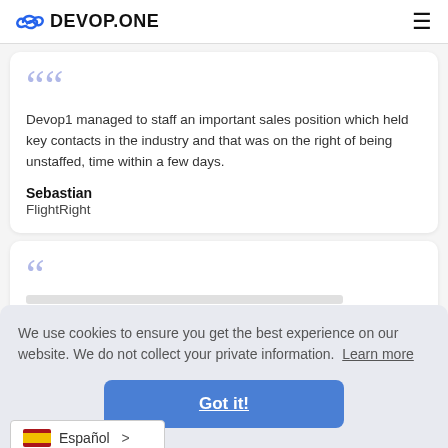DEVOP.ONE
Devop1 managed to staff an important sales position which held key contacts in the industry and that was on the right of being unstaffed, time within a few days.
Sebastian
FlightRight
We use cookies to ensure you get the best experience on our website. We do not collect your private information. Learn more
Got it!